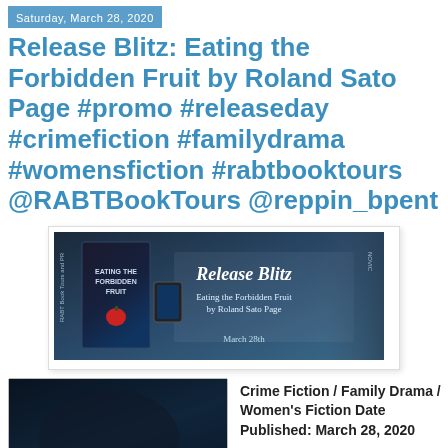Saturday, March 28, 2020
Release Blitz: Eating the Forbidden Fruit by Roland Sato Page #promo #releaseday #crimefiction #familydrama #womensfiction #rabtbooktours @RABTBookTours @reppin_bpent
[Figure (illustration): Release Blitz banner for Eating the Forbidden Fruit by Roland Sato Page, showing book covers, dark background with money/documents, text reads 'Release Blitz', 'Eating the Forbidden Fruit by Roland Sato Page', 'March 28th', RABT Book Tours and PR branding]
[Figure (photo): Dark moody photo showing a red apple, a hand, and documents/tickets on a dark surface, book cover imagery]
Crime Fiction / Family Drama / Women's Fiction Date Published: March 28, 2020